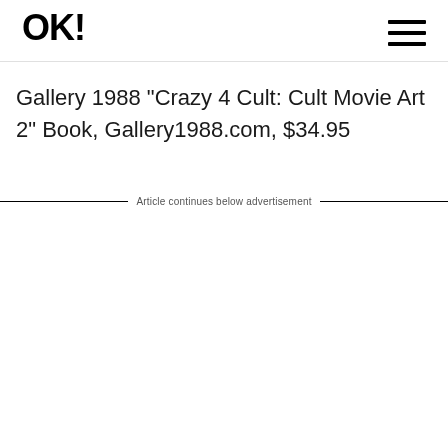OK!
Gallery 1988 "Crazy 4 Cult: Cult Movie Art 2" Book, Gallery1988.com, $34.95
Article continues below advertisement